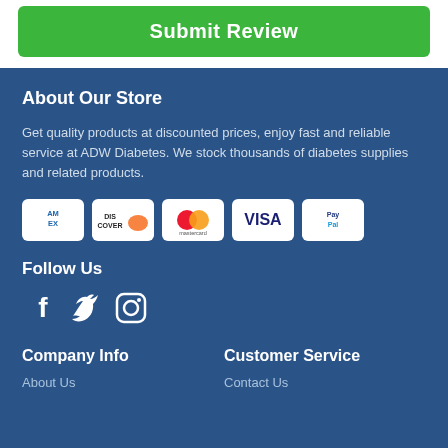Submit Review
About Our Store
Get quality products at discounted prices, enjoy fast and reliable service at ADW Diabetes. We stock thousands of diabetes supplies and related products.
[Figure (logo): Payment method icons: American Express, Discover, Mastercard, Visa, PayPal]
Follow Us
[Figure (logo): Social media icons: Facebook, Twitter, Instagram]
Company Info
Customer Service
About Us
Contact Us